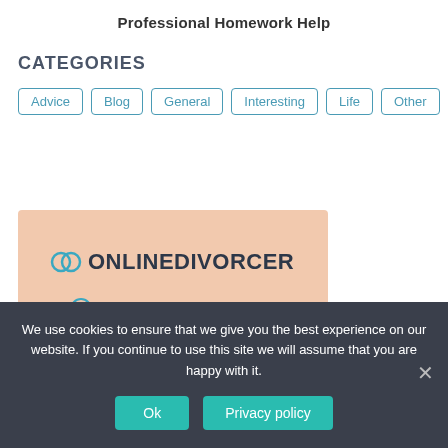Professional Homework Help
CATEGORIES
Advice
Blog
General
Interesting
Life
Other
[Figure (logo): OnlineDivorcer advertisement banner with logo, 'FULL DIVORCE PACKAGE' and a partially visible second bullet point on a peach/salmon background]
We use cookies to ensure that we give you the best experience on our website. If you continue to use this site we will assume that you are happy with it.
Ok
Privacy policy